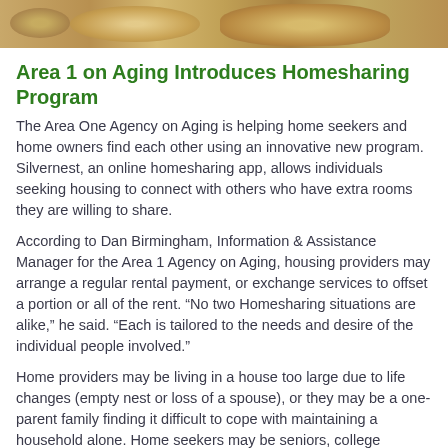[Figure (photo): Top portion of a food/bread photograph, cropped at top of page]
Area 1 on Aging Introduces Homesharing Program
The Area One Agency on Aging is helping home seekers and home owners find each other using an innovative new program. Silvernest, an online homesharing app, allows individuals seeking housing to connect with others who have extra rooms they are willing to share.
According to Dan Birmingham, Information & Assistance Manager for the Area 1 Agency on Aging, housing providers may arrange a regular rental payment, or exchange services to offset a portion or all of the rent. “No two Homesharing situations are alike,” he said. “Each is tailored to the needs and desire of the individual people involved.”
Home providers may be living in a house too large due to life changes (empty nest or loss of a spouse), or they may be a one-parent family finding it difficult to cope with maintaining a household alone. Home seekers may be seniors, college students, newly divorced persons, professionals recently moved to the